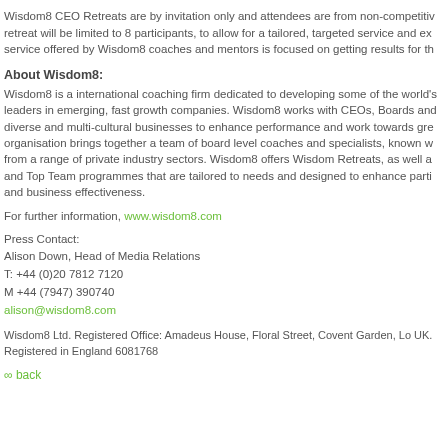Wisdom8 CEO Retreats are by invitation only and attendees are from non-competitive retreat will be limited to 8 participants, to allow for a tailored, targeted service and exp service offered by Wisdom8 coaches and mentors is focused on getting results for th
About Wisdom8:
Wisdom8 is a international coaching firm dedicated to developing some of the world's leaders in emerging, fast growth companies. Wisdom8 works with CEOs, Boards and diverse and multi-cultural businesses to enhance performance and work towards gre organisation brings together a team of board level coaches and specialists, known w from a range of private industry sectors. Wisdom8 offers Wisdom Retreats, as well as and Top Team programmes that are tailored to needs and designed to enhance parti and business effectiveness.
For further information, www.wisdom8.com
Press Contact:
Alison Down, Head of Media Relations
T: +44 (0)20 7812 7120
M +44 (7947) 390740
alison@wisdom8.com
Wisdom8 Ltd. Registered Office: Amadeus House, Floral Street, Covent Garden, Lo UK. Registered in England 6081768
∞ back